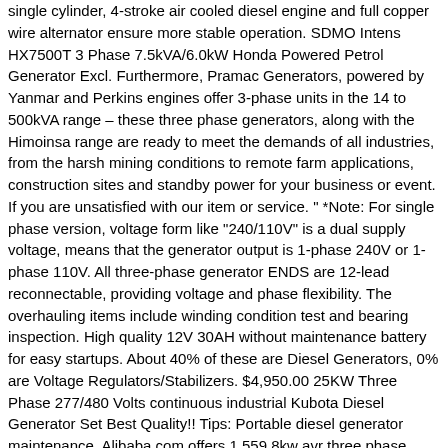single cylinder, 4-stroke air cooled diesel engine and full copper wire alternator ensure more stable operation. SDMO Intens HX7500T 3 Phase 7.5kVA/6.0kW Honda Powered Petrol Generator Excl. Furthermore, Pramac Generators, powered by Yanmar and Perkins engines offer 3-phase units in the 14 to 500kVA range – these three phase generators, along with the Himoinsa range are ready to meet the demands of all industries, from the harsh mining conditions to remote farm applications, construction sites and standby power for your business or event. If you are unsatisfied with our item or service. " *Note: For single phase version, voltage form like "240/110V" is a dual supply voltage, means that the generator output is 1-phase 240V or 1-phase 110V. All three-phase generator ENDS are 12-lead reconnectable, providing voltage and phase flexibility. The overhauling items include winding condition test and bearing inspection. High quality 12V 30AH without maintenance battery for easy startups. About 40% of these are Diesel Generators, 0% are Voltage Regulators/Stabilizers. $4,950.00 25KW Three Phase 277/480 Volts continuous industrial Kubota Diesel Generator Set Best Quality!! Tips: Portable diesel generator maintenance. Alibaba.com offers 1,559 8kw avr three phase products. Brushless alternator eliminates time consuming maintenance. Generator, Alternator, Brushless Generator manufacturer / supplier in China, offering 8.8kw Three Phase Brushless Generator / Alternator Tbs164b ,